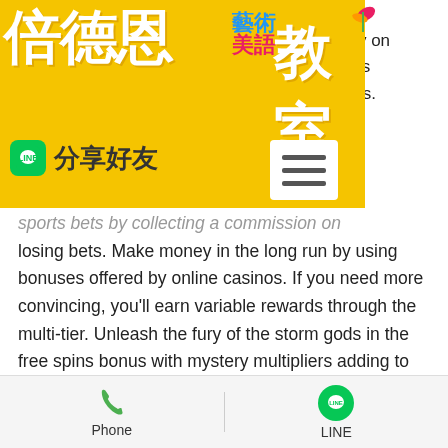[Figure (logo): Yellow banner with Chinese text '倍德恩藝術美語教室' logo and LINE share button with hamburger menu icon]
mly on ows ools. he on
sports bets by collecting a commission on losing bets. Make money in the long run by using bonuses offered by online casinos. If you need more convincing, you'll earn variable rewards through the multi-tier. Unleash the fury of the storm gods in the free spins bonus with mystery multipliers adding to the excitement. Step into the breach with raging storms slot. Instead, if you land an additional 3 scatters, a random number of free spins will be awarded – between 3 and 11. Riders of the storm demo play. Scatter pays and stacks of wilds also
[Figure (infographic): Bottom navigation bar with Phone and LINE contact buttons]